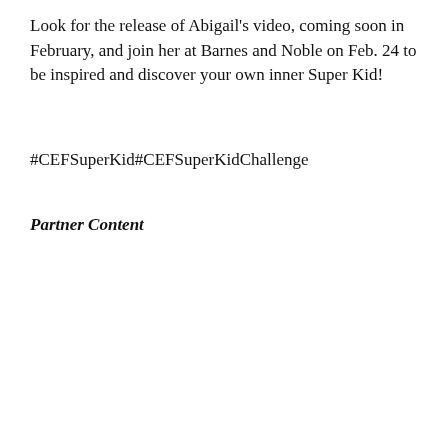Look for the release of Abigail's video, coming soon in February, and join her at Barnes and Noble on Feb. 24 to be inspired and discover your own inner Super Kid!
#CEFSuperKid#CEFSuperKidChallenge
Partner Content
[Figure (logo): Carroll Education Foundation logo — CEF initials in gray with a green leaf/sprout on top, next to text reading CARROLL in large green spaced letters, with 'Exceptional Teac...' in green italic below and URL https://carrolleducation... below that. A video overlay popup shows 'Top Videos of Day: - Quinn Ewers Name...' with football players in Dragons uniforms, and text 'QUINN EWERS NAMED LONGHORN STARTER' at the bottom.]